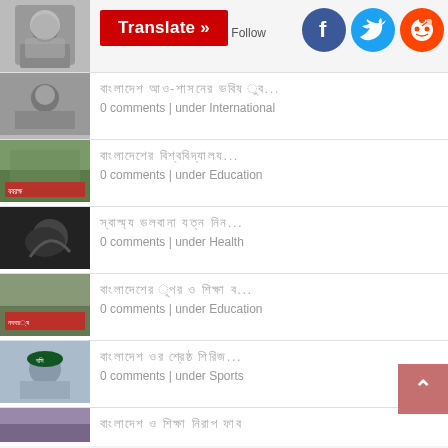[Figure (screenshot): Partial black-and-white photo in top-left corner]
[Figure (other): Red Translate button with white bold text 'Translate »']
Follow
[Figure (logo): Facebook, Twitter, Reddit social icons (circles)]
Bengali text headline... 0 comments | under International
Bengali text headline... 0 comments | under Education
Bengali text headline... 0 comments | under Health
Bengali text headline... 0 comments | under Education
Bengali text headline... 0 comments | under Sports
Bengali text headline...